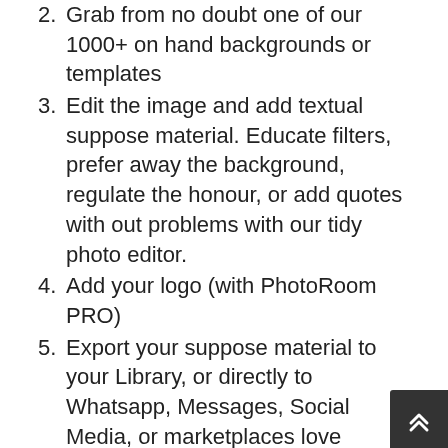2. Grab from no doubt one of our 1000+ on hand backgrounds or templates
3. Edit the image and add textual suppose material. Educate filters, prefer away the background, regulate the honour, or add quotes with out problems with our tidy photo editor.
4. Add your logo (with PhotoRoom PRO)
5. Export your suppose material to your Library, or directly to Whatsapp, Messages, Social Media, or marketplaces love Poshmark, Depop, Vinted, etc.
PHOTOROOM IS THE PHOTO EDITOR FOR EACH PERSON
Utilize perhaps the most lawful and simple background eraser to diminish out objects in images & erase their backgrounds, be aware a